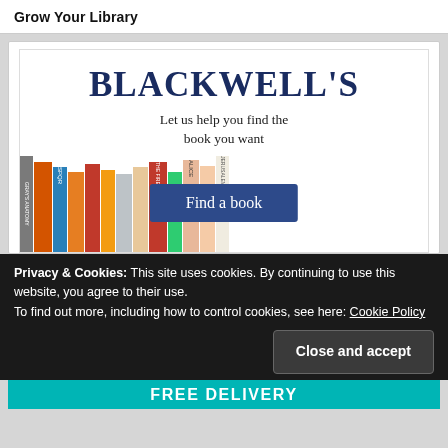Grow Your Library
[Figure (illustration): Blackwell's bookshop advertisement showing the Blackwell's logo in dark blue serif font, tagline 'Let us help you find the book you want', a row of book spines on a shelf, and a dark blue 'Find a book' button overlaid on the books.]
Privacy & Cookies: This site uses cookies. By continuing to use this website, you agree to their use.
To find out more, including how to control cookies, see here: Cookie Policy
Close and accept
FREE DELIVERY